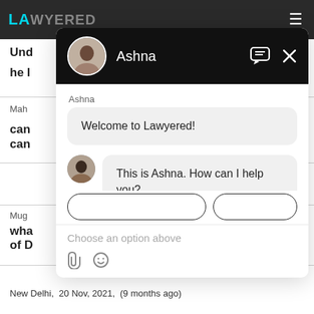[Figure (screenshot): Lawyered website with a chat popup overlay showing a conversation with Ashna. The chat header is black with a profile avatar, name Ashna, chat icon, and close X. The chat body shows a welcome message 'Welcome to Lawyered!' and a follow-up 'This is Ashna. How can I help you?' with option buttons at the bottom and a text input area with 'Choose an option above' placeholder.]
New Delhi,  20 Nov, 2021,  (9 months ago)